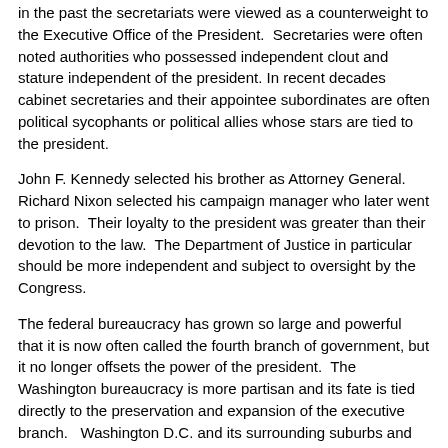in the past the secretariats were viewed as a counterweight to the Executive Office of the President. Secretaries were often noted authorities who possessed independent clout and stature independent of the president. In recent decades cabinet secretaries and their appointee subordinates are often political sycophants or political allies whose stars are tied to the president.
John F. Kennedy selected his brother as Attorney General. Richard Nixon selected his campaign manager who later went to prison. Their loyalty to the president was greater than their devotion to the law. The Department of Justice in particular should be more independent and subject to oversight by the Congress.
The federal bureaucracy has grown so large and powerful that it is now often called the fourth branch of government, but it no longer offsets the power of the president. The Washington bureaucracy is more partisan and its fate is tied directly to the preservation and expansion of the executive branch. Washington D.C. and its surrounding suburbs and workforce are the richest in America and have a vested interest in sustaining and growing the federal executive